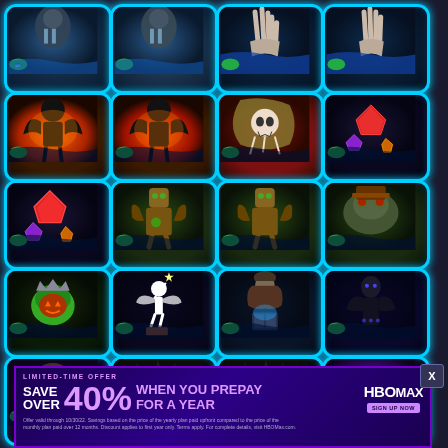[Figure (screenshot): Grid of 20 mobile game app icons arranged in 4 columns and 5 rows, each with dark fantasy/horror themes, glowing blue borders, and fish badge icons. An HBO Max advertisement banner overlays the bottom portion.]
[Figure (advertisement): HBO Max limited-time offer banner: SAVE OVER 40% WHEN YOU PREPAY FOR A YEAR. Offer valid through 10/30/22. Purple gradient background with HBO Max logo and SIGN UP NOW button.]